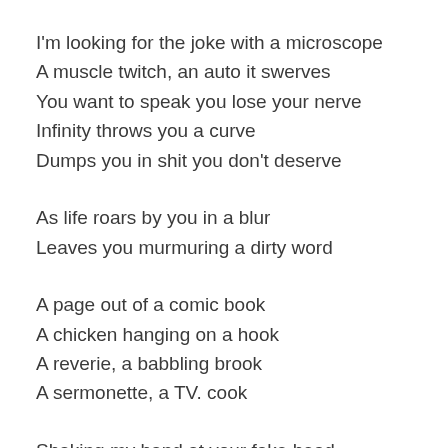I'm looking for the joke with a microscope
A muscle twitch, an auto it swerves
You want to speak you lose your nerve
Infinity throws you a curve
Dumps you in shit you don't deserve
As life roars by you in a blur
Leaves you murmuring a dirty word
A page out of a comic book
A chicken hanging on a hook
A reverie, a babbling brook
A sermonette, a TV. cook
Shaking my hand at your fake head
A suicide, a certain look